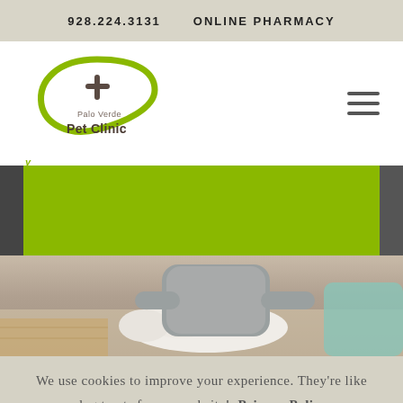928.224.3131   ONLINE PHARMACY
[Figure (logo): Palo Verde Pet Clinic logo — green leaf/paw shape with a plus sign, text 'Palo Verde Pet Clinic']
[Figure (photo): Person petting or examining a white dog on a couch]
We use cookies to improve your experience. They're like dog treats for our website!  Privacy Policy
GOT IT!